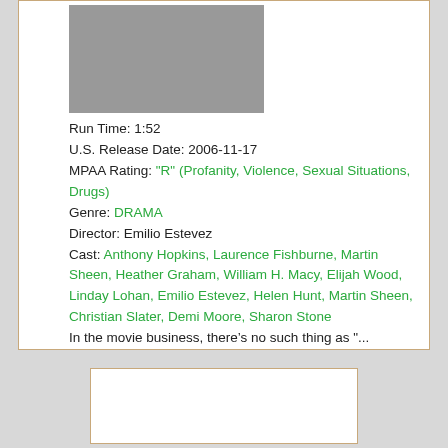[Figure (photo): Gray placeholder thumbnail image for a movie]
Run Time: 1:52
U.S. Release Date: 2006-11-17
MPAA Rating: "R" (Profanity, Violence, Sexual Situations, Drugs)
Genre: DRAMA
Director: Emilio Estevez
Cast: Anthony Hopkins, Laurence Fishburne, Martin Sheen, Heather Graham, William H. Macy, Elijah Wood, Linday Lohan, Emilio Estevez, Helen Hunt, Martin Sheen, Christian Slater, Demi Moore, Sharon Stone
In the movie business, there’s no such thing as "...
[Figure (photo): White card/placeholder area at the bottom]